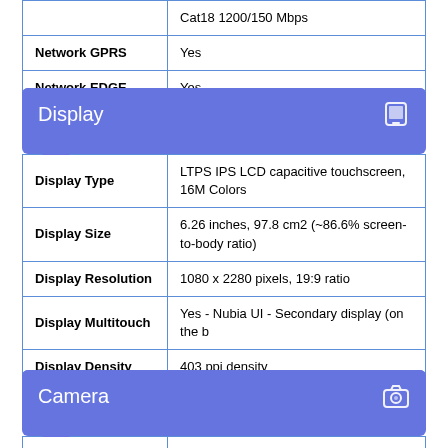| Property | Value |
| --- | --- |
|  | Cat18 1200/150 Mbps |
| Network GPRS | Yes |
| Network EDGE | Yes |
Display
| Property | Value |
| --- | --- |
| Display Type | LTPS IPS LCD capacitive touchscreen, 16M Colors |
| Display Size | 6.26 inches, 97.8 cm2 (~86.6% screen-to-body ratio) |
| Display Resolution | 1080 x 2280 pixels, 19:9 ratio |
| Display Multitouch | Yes - Nubia UI - Secondary display (on the b |
| Display Density | 403 ppi density |
Camera
| Property | Value |
| --- | --- |
| Primary Camera | 24MP, f/1.6, OIS, |